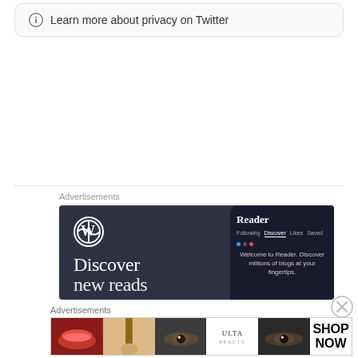ⓘ Learn more about privacy on Twitter
[Figure (screenshot): WordPress advertisement banner with dark blue background showing WordPress logo, 'Discover' text, and a mobile phone UI panel showing 'Reader' with Following, Discover, Likes, Saved tabs and text 'Welcome to Reader. Discover millions of blogs at your fingertips.']
Advertisements
[Figure (screenshot): Ulta Beauty advertisement banner showing beauty images (lips, makeup brush, eye, Ulta logo, eye closeup) with 'SHOP NOW' text on white background]